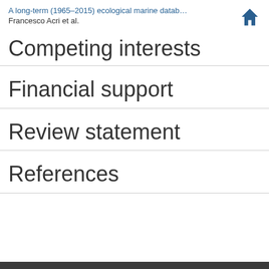A long-term (1965–2015) ecological marine datab… Francesco Acri et al.
Competing interests
Financial support
Review statement
References